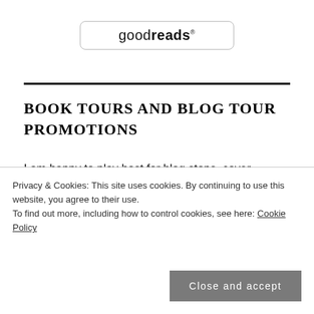[Figure (logo): Goodreads logo with rounded rectangle border]
BOOK TOURS AND BLOG TOUR PROMOTIONS
I am happy to play host for blog stops, cover reveals, reviews, spotlights, and blitzes and participate with the following well-trafficked sites.
Privacy & Cookies: This site uses cookies. By continuing to use this website, you agree to their use. To find out more, including how to control cookies, see here: Cookie Policy
[Figure (screenshot): Bottom strip showing Blog Tours text on purple background]